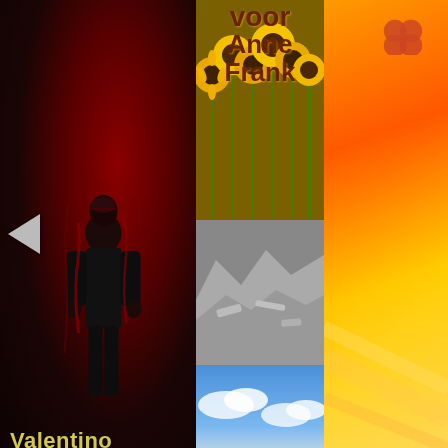[Figure (illustration): Three book covers shown side by side. Left: 'Valentino' - dark cover with figure standing against red/black background. Middle: 'Chocolade voor Anne Frank' - split into sunflowers top, rubble middle, sky bottom with title text overlay. Right: Partial warm orange/yellow gradient cover with a red clover icon.]
Moscas el Sicario - Valentino (by Valentino)
Chocolade voor Anne Frank (Dutch) Volume Dutch Version (by Van der Stelt, Machiel)
X²=-2 intern Eau)
Romance:
[Figure (illustration): Partial view of a book cover with silver/grey gradient, partially visible at bottom of page.]